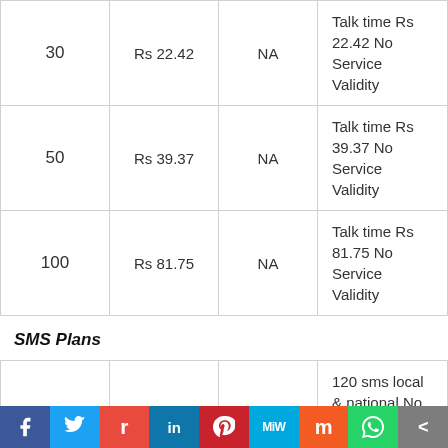| Price | Value | Validity | Details |
| --- | --- | --- | --- |
| 30 | Rs 22.42 | NA | Talk time Rs 22.42 No Service Validity |
| 50 | Rs 39.37 | NA | Talk time Rs 39.37 No Service Validity |
| 100 | Rs 81.75 | NA | Talk time Rs 81.75 No Service Validity |
SMS Plans
| Price | Value | Validity | Details |
| --- | --- | --- | --- |
| 12 |  | 10 days | 120 sms local & national No Service Validity |
| 26 |  | 28 days | 250 sms local & national No Service Validity |